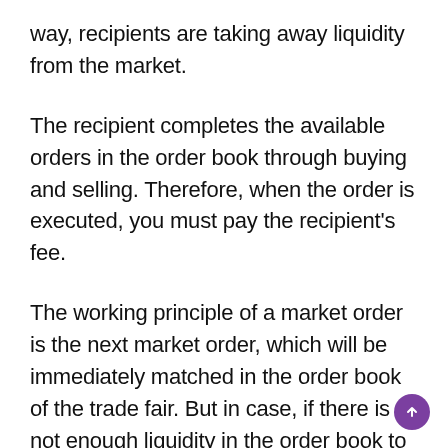way, recipients are taking away liquidity from the market.
The recipient completes the available orders in the order book through buying and selling. Therefore, when the order is executed, you must pay the recipient's fee.
The working principle of a market order is the next market order, which will be immediately matched in the order book of the trade fair. But in case, if there is not enough liquidity in the order book to fill